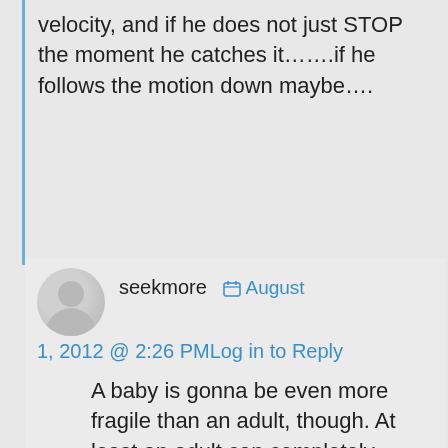velocity, and if he does not just STOP the moment he catches it…….if he follows the motion down maybe….
seekmore  August 1, 2012 @ 2:26 PMLog in to Reply
A baby is gonna be even more fragile than an adult, though. At least an adult can completely control the motion of their head. This baby doesn't look old enough to have developed that ability.

We'll just have to see.